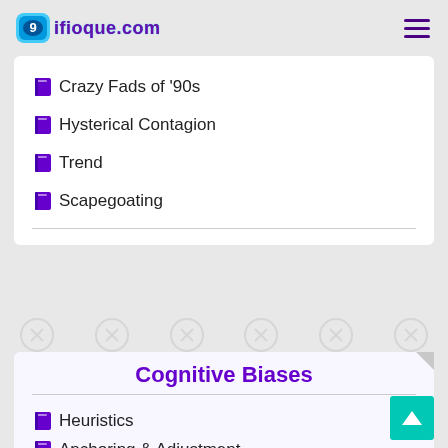ifioque.com
Crazy Fads of '90s
Hysterical Contagion
Trend
Scapegoating
Cognitive Biases
Heuristics
Anchoring & Adjustment